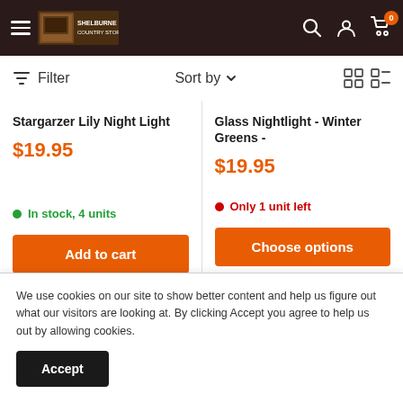[Figure (screenshot): E-commerce website header with hamburger menu, store logo, search icon, account icon, and cart icon with 0 badge]
Filter   Sort by ▾
Stargarzer Lily Night Light
$19.95
In stock, 4 units
Add to cart
Glass Nightlight - Winter Greens -
$19.95
Only 1 unit left
Choose options
We use cookies on our site to show better content and help us figure out what our visitors are looking at. By clicking Accept you agree to help us out by allowing cookies.